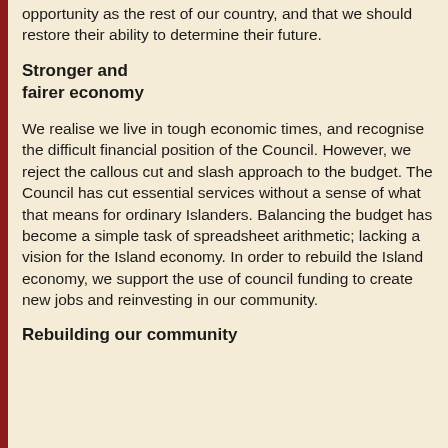opportunity as the rest of our country, and that we should restore their ability to determine their future.
Stronger and fairer economy
We realise we live in tough economic times, and recognise the difficult financial position of the Council. However, we reject the callous cut and slash approach to the budget. The Council has cut essential services without a sense of what that means for ordinary Islanders. Balancing the budget has become a simple task of spreadsheet arithmetic; lacking a vision for the Island economy. In order to rebuild the Island economy, we support the use of council funding to create new jobs and reinvesting in our community.
Rebuilding our community